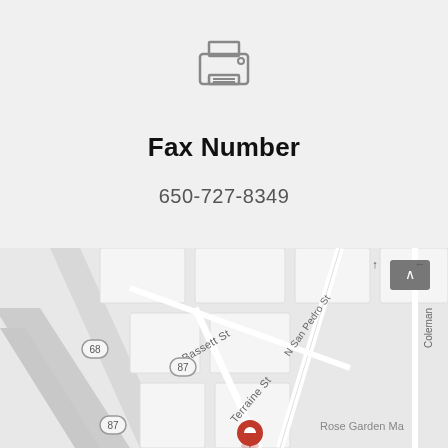[Figure (illustration): Printer/fax machine icon in gray outline style]
Fax Number
650-727-8349
[Figure (map): Google Maps screenshot showing San Jose area streets including Bassett St, Terraine St, N San Pedro St, Coleman Ave, Rose Garden Ma(rket area), highway markers 68 and 87, with a red location pin marker]